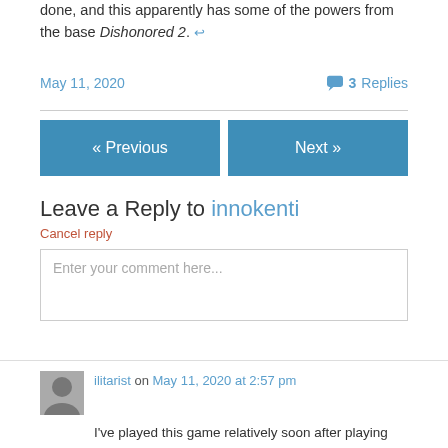done, and this apparently has some of the powers from the base Dishonored 2. ↩
May 11, 2020   💬 3 Replies
« Previous
Next »
Leave a Reply to innokenti
Cancel reply
Enter your comment here...
ilitarist on May 11, 2020 at 2:57 pm
I've played this game relatively soon after playing Dishonored 2. I too remember feeling liberated by the lack of chaos